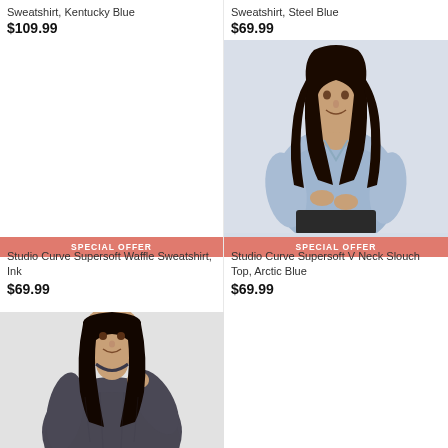Sweatshirt, Kentucky Blue
$109.99
Sweatshirt, Steel Blue
$69.99
[Figure (photo): Woman wearing a light blue sweatshirt top, side pose]
SPECIAL OFFER
SPECIAL OFFER
Studio Curve Supersoft Waffle Sweatshirt, Ink
$69.99
Studio Curve Supersoft V Neck Slouch Top, Arctic Blue
$69.99
[Figure (photo): Woman wearing a dark grey/charcoal sweatshirt, smiling, partial view]